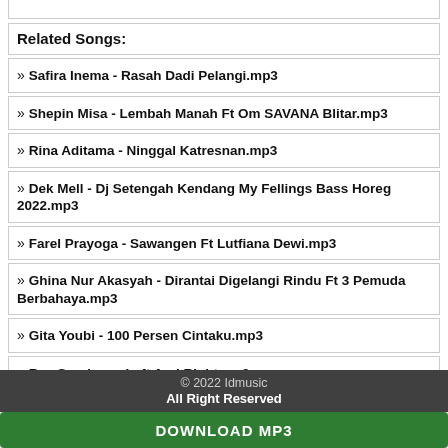Related Songs:
» Safira Inema - Rasah Dadi Pelangi.mp3
» Shepin Misa - Lembah Manah Ft Om SAVANA Blitar.mp3
» Rina Aditama - Ninggal Katresnan.mp3
» Dek Mell - Dj Setengah Kendang My Fellings Bass Horeg 2022.mp3
» Farel Prayoga - Sawangen Ft Lutfiana Dewi.mp3
» Ghina Nur Akasyah - Dirantai Digelangi Rindu Ft 3 Pemuda Berbahaya.mp3
» Gita Youbi - 100 Persen Cintaku.mp3
» Ray Surajaya - Left And Right.mp3
» Putri Aulia - Mengenangmu (Dangdut Version).mp3
» Mbon Mbon Remix - Dj Ter Kak Jill Kak Jill Gorden Tiktok Terbaru 2022.mp3
© 2022 Idmusic
All Right Reserved
DOWNLOAD MP3